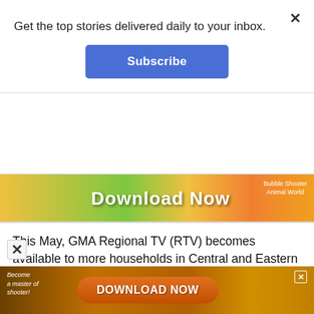Get the top stories delivered daily to your inbox.
Subscribe
[Figure (screenshot): Advertisement banner: 'Download Now' with Bubble Shooter Animal World game ad, colorful background with fruits and bubbles]
This May, GMA Regional TV (RTV) becomes available to more households in Central and Eastern Visayas.
Viewers in Calbayog, Borongan, and Dumaguete can now catch the unified newscast “GMA Regional TV Balitang Bisdak” and the morning show “GMA Regional TV Live!” via GMA RTV’s local channels. The additional s ervice areas further cement the presence of GMA
[Figure (screenshot): Bottom advertisement banner: 'Become a master of shooter! DOWNLOAD NOW' game ad with dark golden background]